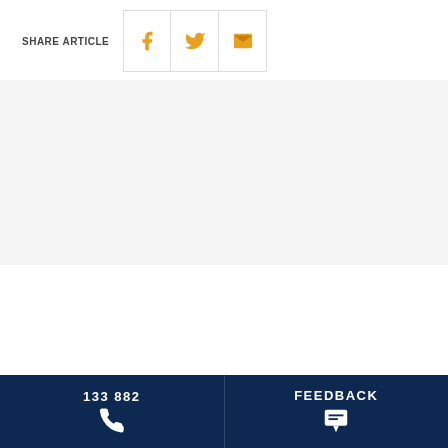SHARE ARTICLE
[Figure (infographic): Share article icons: Facebook (f), Twitter (bird), Email (envelope) in orange/amber color inside bordered boxes]
[Figure (infographic): Dark navy blue footer with two sections: left shows '133 882' with a white phone icon, right shows 'FEEDBACK' with a white chat/message icon]